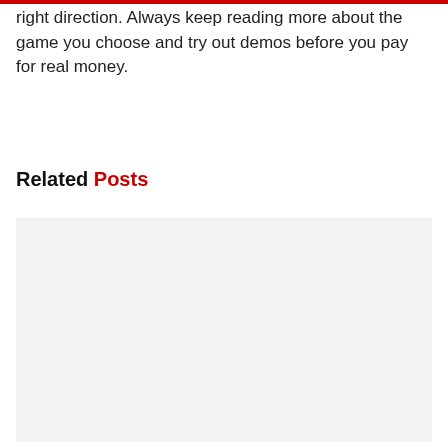right direction. Always keep reading more about the game you choose and try out demos before you pay for real money.
Related Posts
[Figure (other): Light gray placeholder image block below the Related Posts heading]